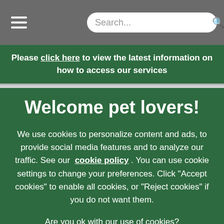Navigation bar with hamburger menu and search box
Please click here to view the latest information on how to access our services
Welcome pet lovers!
We use cookies to personalize content and ads, to provide social media features and to analyze our traffic. See our cookie policy. You can use cookie settings to change your preferences. Click "Accept cookies" to enable all cookies, or "Reject cookies" if you do not want them.
Are you ok with our use of cookies?
Cookies Settings